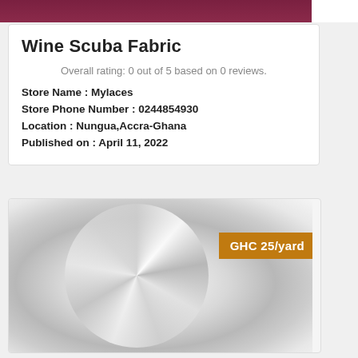[Figure (photo): Top strip showing wine/burgundy colored scuba fabric]
Wine Scuba Fabric
Overall rating: 0 out of 5 based on 0 reviews.
Store Name : Mylaces
Store Phone Number : 0244854930
Location : Nungua,Accra-Ghana
Published on : April 11, 2022
[Figure (photo): White scuba fabric with swirl texture pattern, with GHC 25/yard price badge overlay]